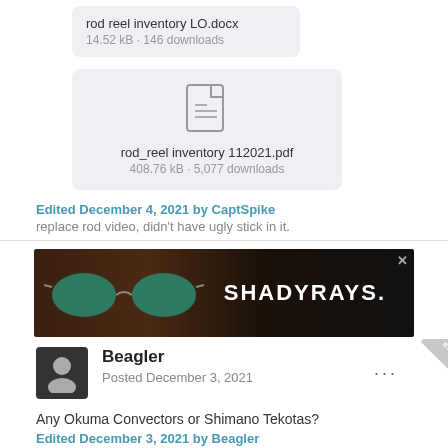[Figure (other): File card for rod reel inventory LO.docx, 14.52 kB, 146 downloads]
[Figure (other): File card with PDF icon for rod_reel inventory 112021.pdf, 408.76 kB, 5,077 downloads]
Edited December 4, 2021 by CaptSpike
replace rod video, didn't have ugly stick in it.
[Figure (photo): Shady Rays sunglasses advertisement banner with dark background showing sunglasses and SHADYRAYS. text]
Beagler
Posted December 3, 2021
Any Okuma Convectors or Shimano Tekotas?
Edited December 3, 2021 by Beagler